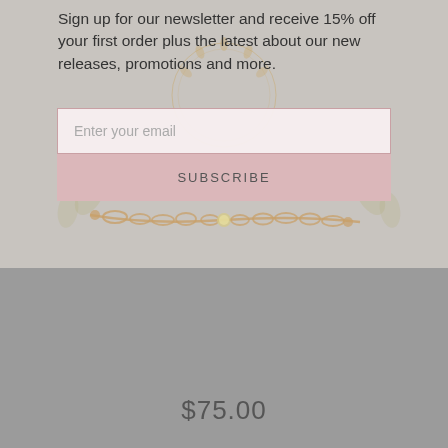Sign up for our newsletter and receive 15% off your first order plus the latest about our new releases, promotions and more.
[Figure (illustration): Gold chain bracelet with small gemstone beads, displayed on a light pinkish-gray background with decorative circular botanical border motif]
Enter your email
SUBSCRIBE
[Figure (photo): Gray background section showing bottom of jewelry website page]
$75.00